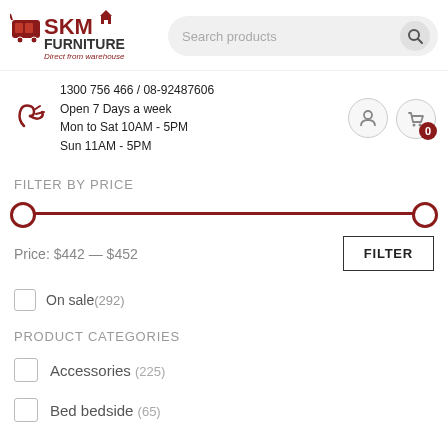[Figure (logo): SKM Furniture logo with shopping cart icon and tagline 'Direct from warehouse']
Search products
1300 756 466 / 08-92487606
Open 7 Days a week
Mon to Sat 10AM - 5PM
Sun 11AM - 5PM
FILTER BY PRICE
Price: $442 — $452
FILTER
On sale (292)
PRODUCT CATEGORIES
Accessories (225)
Bed bedside (65)